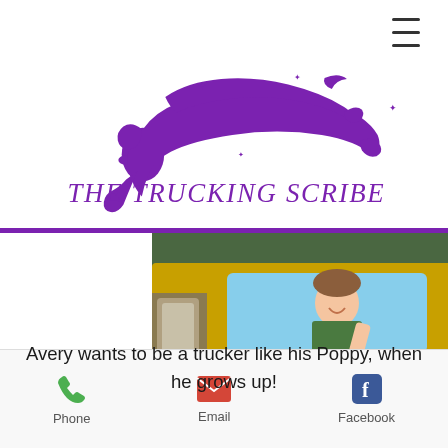[Figure (logo): The Trucking Scribe logo — purple swirling hair/wind woman silhouette with stars and crescent moon, and italic text 'THE TRUCKING SCRIBE' below in purple]
[Figure (photo): A smiling child leaning out of the cab window of a large yellow DTS Logistics Inc truck. The truck door shows USDOT 2070210, MC 722600, Temple GA.]
Avery wants to be a trucker like his Poppy, when he grows up!
Phone   Email   Facebook